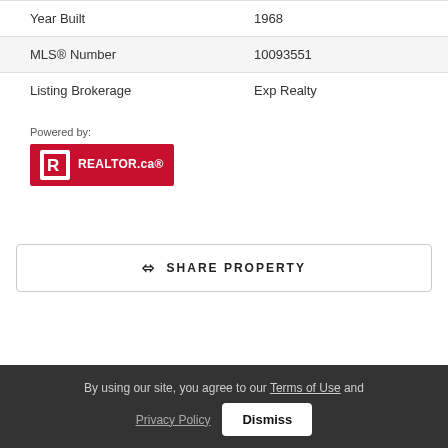| Year Built | 1968 |
| MLS® Number | 10093551 |
| Listing Brokerage | Exp Realty |
[Figure (logo): REALTOR.ca logo — red rectangle with white 'R' icon and REALTOR.ca text, preceded by 'Powered by:' label]
SHARE PROPERTY
By using our site, you agree to our Terms of Use and Privacy Policy  Dismiss